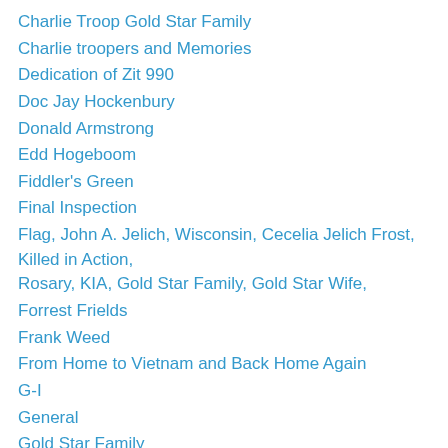Charlie Troop Gold Star Family
Charlie troopers and Memories
Dedication of Zit 990
Doc Jay Hockenbury
Donald Armstrong
Edd Hogeboom
Fiddler's Green
Final Inspection
Flag, John A. Jelich, Wisconsin, Cecelia Jelich Frost, Killed in Action, Rosary, KIA, Gold Star Family, Gold Star Wife,
Forrest Frields
Frank Weed
From Home to Vietnam and Back Home Again
G-I
General
Gold Star Family
Golden Years
Greg Jayne
Grover Wright
Hanoi Jane